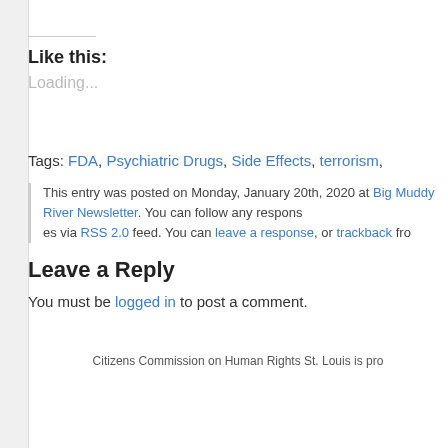Like this:
Loading...
Tags: FDA, Psychiatric Drugs, Side Effects, terrorism,
This entry was posted on Monday, January 20th, 2020 at Big Muddy River Newsletter. You can follow any responses via RSS 2.0 feed. You can leave a response, or trackback fro
Leave a Reply
You must be logged in to post a comment.
Citizens Commission on Human Rights St. Louis is pro